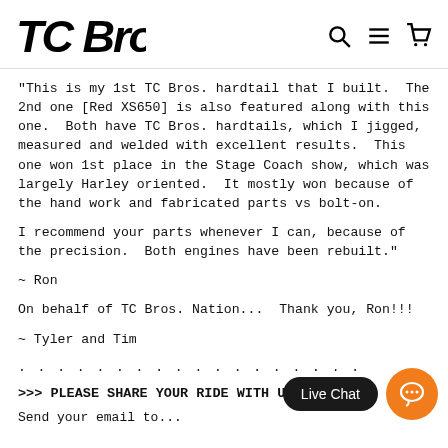TC Bros. [logo] with search, menu, and cart icons
"This is my 1st TC Bros. hardtail that I built.  The 2nd one [Red XS650] is also featured along with this one.  Both have TC Bros. hardtails, which I jigged, measured and welded with excellent results.  This one won 1st place in the Stage Coach show, which was largely Harley oriented.  It mostly won because of the hand work and fabricated parts vs bolt-on.
I recommend your parts whenever I can, because of the precision.  Both engines have been rebuilt."
~ Ron
On behalf of TC Bros. Nation...  Thank you, Ron!!!
~ Tyler and Tim
. . . . . . . . . . . . . . . . . .
>>> PLEASE SHARE YOUR RIDE WITH US!!!
Send your email to...